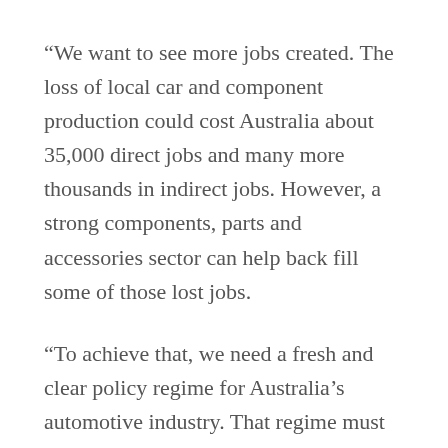“We want to see more jobs created. The loss of local car and component production could cost Australia about 35,000 direct jobs and many more thousands in indirect jobs. However, a strong components, parts and accessories sector can help back fill some of those lost jobs.
“To achieve that, we need a fresh and clear policy regime for Australia’s automotive industry. That regime must take into account the industry’s post 2017 realities.
“This new Council will encourage governments to develop those policies. We must help the industry transition from a reliance on local car production to